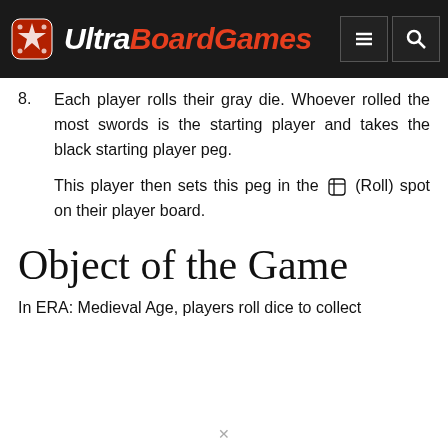UltraBoardGames
8. Each player rolls their gray die. Whoever rolled the most swords is the starting player and takes the black starting player peg.
This player then sets this peg in the [dice icon] (Roll) spot on their player board.
Object of the Game
In ERA: Medieval Age, players roll dice to collect